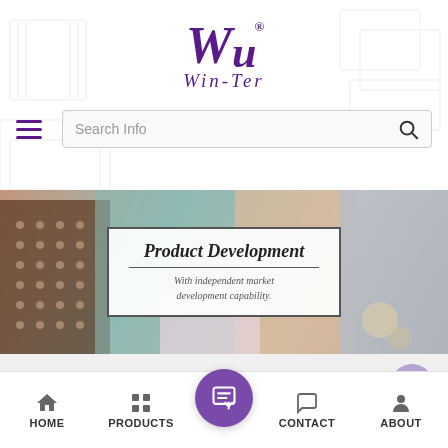Win-Ter logo
[Figure (screenshot): Win-Ter company logo with stylized W and text 'Win-Ter' in purple cursive with registered trademark symbol]
[Figure (screenshot): Navigation bar with hamburger menu icon and search bar showing 'Search Info' placeholder with search icon]
[Figure (photo): Banner image showing stationery and notebook products with overlay card reading 'Product Development - With independent market development capability.']
PRODUCTS
Home / Book Printing / Professional book printing supplier in China
HOME  PRODUCTS  CONTACT  ABOUT